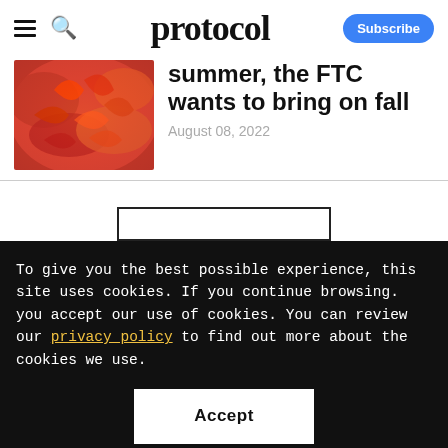protocol
[Figure (photo): Close-up photo of red/orange autumn maple leaves]
summer, the FTC wants to bring on fall
August 08, 2022
To give you the best possible experience, this site uses cookies. If you continue browsing. you accept our use of cookies. You can review our privacy policy to find out more about the cookies we use.
Accept